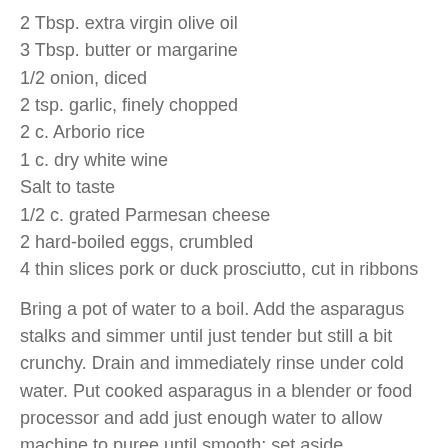2 Tbsp. extra virgin olive oil
3 Tbsp. butter or margarine
1/2 onion, diced
2 tsp. garlic, finely chopped
2 c. Arborio rice
1 c. dry white wine
Salt to taste
1/2 c. grated Parmesan cheese
2 hard-boiled eggs, crumbled
4 thin slices pork or duck prosciutto, cut in ribbons
Bring a pot of water to a boil. Add the asparagus stalks and simmer until just tender but still a bit crunchy. Drain and immediately rinse under cold water. Put cooked asparagus in a blender or food processor and add just enough water to allow machine to puree until smooth; set aside.
Put stock in a medium saucepan over low heat. Then, in a deep nonstick skillet, heat oil and 1 tablespoon butter over medium flame. When it is hot, add onion and garlic, stirring occasionally until it softens, 3 to 5 minutes.